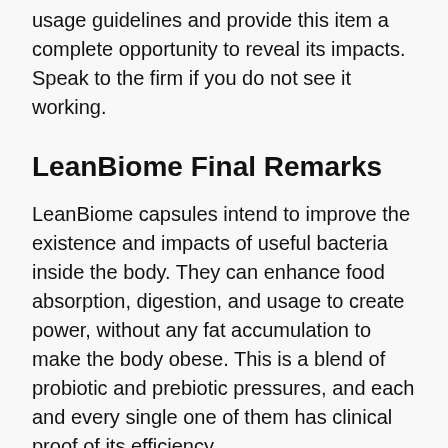usage guidelines and provide this item a complete opportunity to reveal its impacts. Speak to the firm if you do not see it working.
LeanBiome Final Remarks
LeanBiome capsules intend to improve the existence and impacts of useful bacteria inside the body. They can enhance food absorption, digestion, and usage to create power, without any fat accumulation to make the body obese. This is a blend of probiotic and prebiotic pressures, and each and every single one of them has clinical proof of its efficiency.
There is no way this supplement can go wrong for